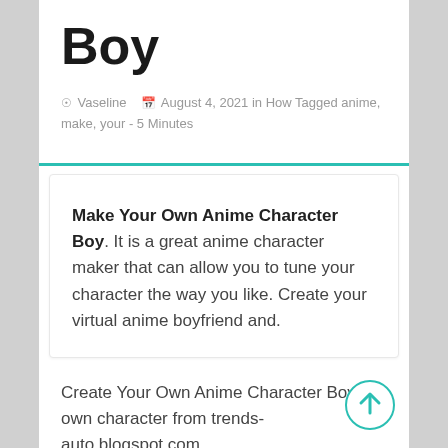Boy
Vaseline  August 4, 2021 in How Tagged anime, make, your - 5 Minutes
Make Your Own Anime Character Boy. It is a great anime character maker that can allow you to tune your character the way you like. Create your virtual anime boyfriend and.
Create Your Own Anime Character Boy My own character from trends-auto.blogspot.com